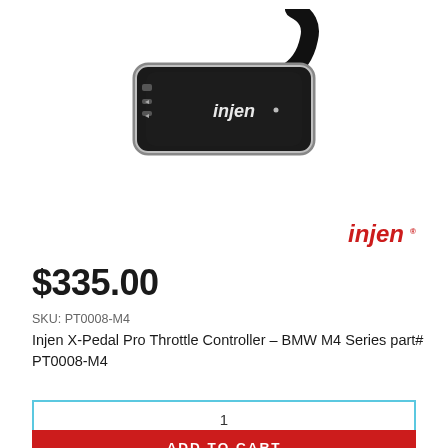[Figure (photo): Injen X-Pedal Pro Throttle Controller device with cable, black rectangular unit with silver trim and Injen branding, viewed from above]
[Figure (logo): Injen logo in red with italic stylized text]
$335.00
SKU: PT0008-M4
Injen X-Pedal Pro Throttle Controller - BMW M4 Series part# PT0008-M4
1
ADD TO CART
[Figure (photo): Close-up of Injen throttle controller cable connector, black plug, partially visible at bottom of page]